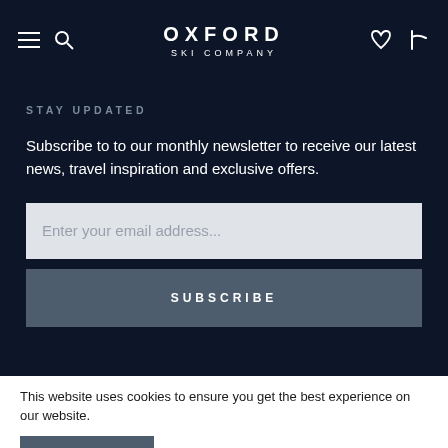Oxford Ski Company — navigation header with hamburger menu, search icon, phone icon, and heart/wishlist icon
STAY UPDATED
Subscribe to to our monthly newsletter to receive our latest news, travel inspiration and exclusive offers.
Enter your email address...
SUBSCRIBE
This website uses cookies to ensure you get the best experience on our website.
OKAY
Privacy policy